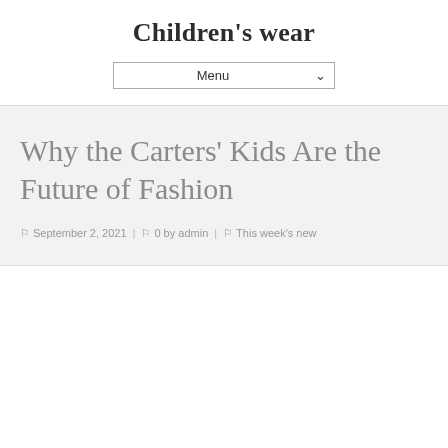Children's wear
Menu
Why the Carters' Kids Are the Future of Fashion
September 2, 2021 | 0 by admin | This week's new